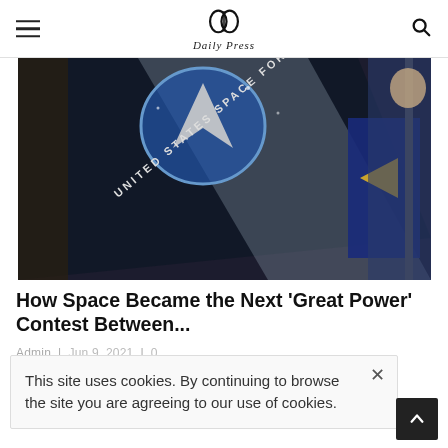Daily Press — navigation header with hamburger menu and search icon
[Figure (photo): United States Space Force flag being carried by uniformed personnel inside what appears to be the Oval Office. The black flag displays a delta wing and globe emblem with 'UNITED STATES SPACE FORCE' text. A second flag (blue with yellow torch emblem) is visible to the right. A uniformed officer holds the flags.]
How Space Became the Next 'Great Power' Contest Between...
Admin  |  [date]  |  [time]  |  [views]
This site uses cookies. By continuing to browse the site you are agreeing to our use of cookies.